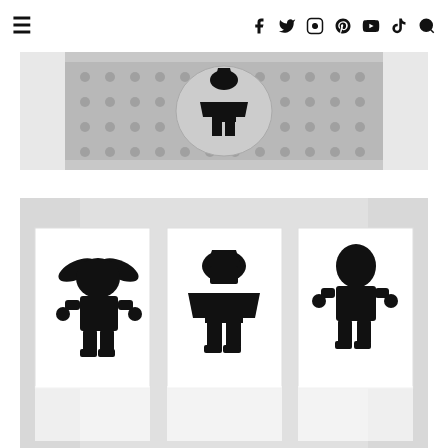Navigation bar with hamburger menu and social media icons (Facebook, Twitter, Instagram, Pinterest, YouTube, TikTok) and search
[Figure (photo): Close-up photo of a Darth Vader LEGO minifigure silhouette on a gray LEGO baseplate, viewed from above on a white surface]
[Figure (photo): Three white cards displayed side by side showing black silhouettes of Star Wars LEGO minifigures: Yoda (left), Darth Vader (center), and a Stormtrooper (right)]